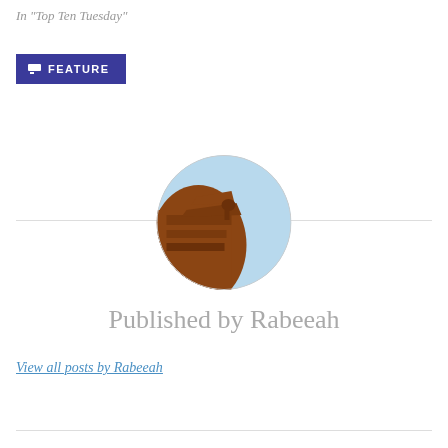In "Top Ten Tuesday"
FEATURE
[Figure (photo): Circular avatar image showing a reddish-brown architectural structure (possibly a roof or temple detail) against a light blue sky background.]
Published by Rabeeah
View all posts by Rabeeah